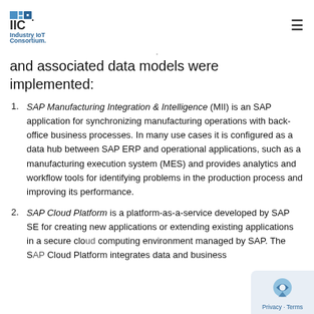Industry IoT Consortium
and associated data models were implemented:
SAP Manufacturing Integration & Intelligence (MII) is an SAP application for synchronizing manufacturing operations with back-office business processes. In many use cases it is configured as a data hub between SAP ERP and operational applications, such as a manufacturing execution system (MES) and provides analytics and workflow tools for identifying problems in the production process and improving its performance.
SAP Cloud Platform is a platform-as-a-service developed by SAP SE for creating new applications or extending existing applications in a secure cloud computing environment managed by SAP. The SAP Cloud Platform integrates data and business